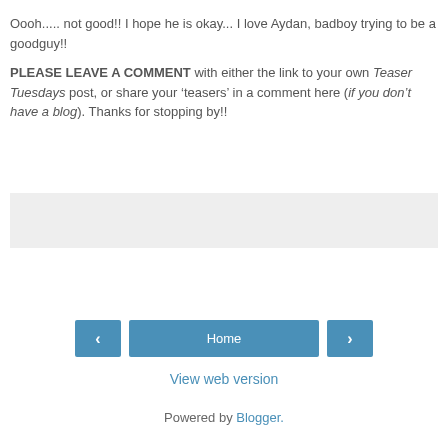Oooh..... not good!! I hope he is okay... I love Aydan, badboy trying to be a goodguy!!
PLEASE LEAVE A COMMENT with either the link to your own Teaser Tuesdays post, or share your ‘teasers’ in a comment here (if you don’t have a blog). Thanks for stopping by!!
[Figure (other): Gray rectangle placeholder box]
Home navigation bar with left arrow, Home button, and right arrow
View web version
Powered by Blogger.